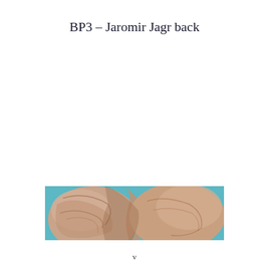BP3 – Jaromir Jagr back
[Figure (photo): Close-up photo of what appears to be a person's back/shoulder muscles against a teal/blue background. The image shows skin texture and musculature in detail.]
v